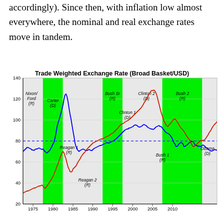accordingly). Since then, with inflation low almost everywhere, the nominal and real exchange rates move in tandem.
[Figure (line-chart): Line chart showing Real (blue) and Nominal (red) trade weighted exchange rate (Broad Basket/USD) from 1973 to 2012. Background bands indicate presidential terms. Y-axis from 20 to 140. A dashed horizontal line at 80. Labels for Nixon/Ford (R), Carter (D), Reagan 1 (R), Reagan 2 (R), Bush Sr (R), Clinton 1 (D), Clinton 2 (D), Bush 1 (R), Bush 2 (R), Obama (D).]